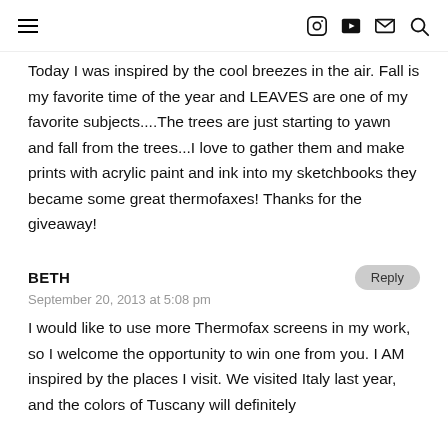Navigation header with hamburger menu and icons
Today I was inspired by the cool breezes in the air. Fall is my favorite time of the year and LEAVES are one of my favorite subjects....The trees are just starting to yawn and fall from the trees...I love to gather them and make prints with acrylic paint and ink into my sketchbooks they became some great thermofaxes! Thanks for the giveaway!
BETH
September 20, 2013 at 5:08 pm

I would like to use more Thermofax screens in my work, so I welcome the opportunity to win one from you. I AM inspired by the places I visit. We visited Italy last year, and the colors of Tuscany will definitely